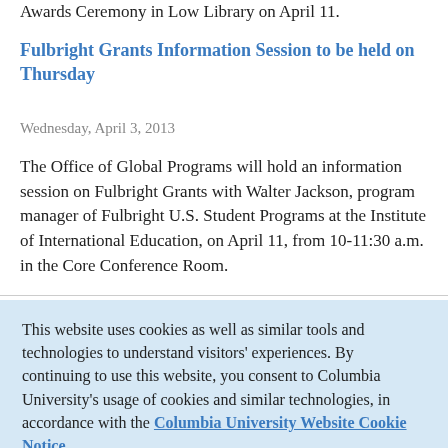Awards Ceremony in Low Library on April 11.
Fulbright Grants Information Session to be held on Thursday
Wednesday, April 3, 2013
The Office of Global Programs will hold an information session on Fulbright Grants with Walter Jackson, program manager of Fulbright U.S. Student Programs at the Institute of International Education, on April 11, from 10-11:30 a.m. in the Core Conference Room.
This website uses cookies as well as similar tools and technologies to understand visitors' experiences. By continuing to use this website, you consent to Columbia University's usage of cookies and similar technologies, in accordance with the Columbia University Website Cookie Notice.